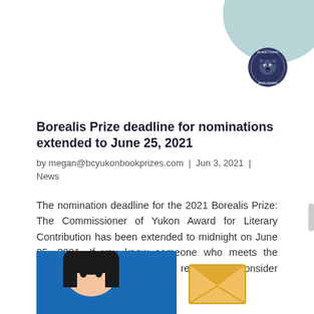[Figure (logo): BC and Yukon Book Prizes circular logo with bear/animal illustration, dark navy color scheme, positioned in top right corner with a light teal decorative blob shape behind it]
Borealis Prize deadline for nominations extended to June 25, 2021
by megan@bcyukonbookprizes.com | Jun 3, 2021 | News
The nomination deadline for the 2021 Borealis Prize: The Commissioner of Yukon Award for Literary Contribution has been extended to midnight on June 25, 2021. If you know someone who meets the criteria and deserves special recognition, consider nominating them for the…
[Figure (illustration): Bottom portion of page showing a cartoon illustration of a child with dark hair on a blue background, and a yellow envelope illustration to the right]